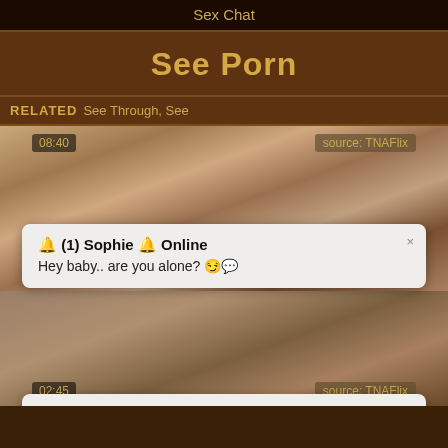Sex Chat
See Porn
RELATED  See Through, See
[Figure (screenshot): Video thumbnail with timestamp 08:40 and source TNAFlix badge, showing adult content]
🔔 (1) Sophie 🔔 Online
Hey baby.. are you alone? 😏💬
[Figure (screenshot): Second video thumbnail area, partially visible adult content]
🔔 (1) Sophie 🔔 Online
Hey baby.. are you alone? 😏💬
02:45   source: TNAFlix